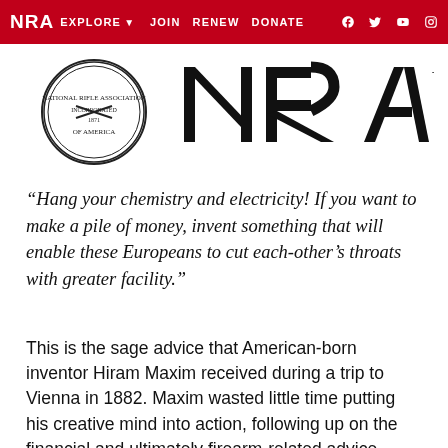NRA EXPLORE  JOIN  RENEW  DONATE
[Figure (logo): NRA circular seal logo on the left and large NRA block letters logo with TM on the right]
“Hang your chemistry and electricity! If you want to make a pile of money, invent something that will enable these Europeans to cut each-other’s throats with greater facility.”
This is the sage advice that American-born inventor Hiram Maxim received during a trip to Vienna in 1882. Maxim wasted little time putting his creative mind into action, following up on the financial and ultimately firearm-related advice.